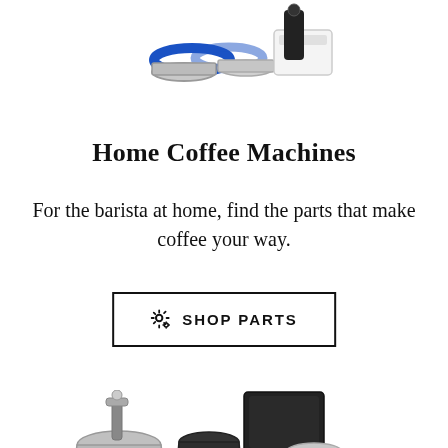[Figure (photo): Top portion of coffee machine parts — blue ring gasket, metal filter baskets, and other components on white background (partially cropped at top)]
Home Coffee Machines
For the barista at home, find the parts that make coffee your way.
⚙ SHOP PARTS
[Figure (photo): Coffee accessories spread — stainless steel milk frothing pitchers, portafilter, tamper, black storage container, scale/timer, and other barista tools on white background (partially cropped at bottom)]